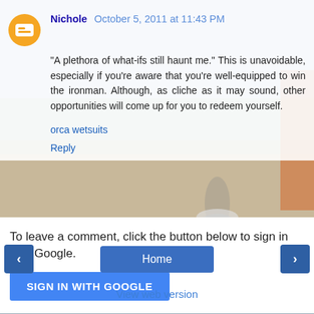[Figure (photo): Background photo of a running/triathlon scene with a person running on a path, blurred background]
Nichole  October 5, 2011 at 11:43 PM
"A plethora of what-ifs still haunt me." This is unavoidable, especially if you're aware that you're well-equipped to win the ironman. Although, as cliche as it may sound, other opportunities will come up for you to redeem yourself.
orca wetsuits
Reply
To leave a comment, click the button below to sign in with Google.
SIGN IN WITH GOOGLE
Home
View web version